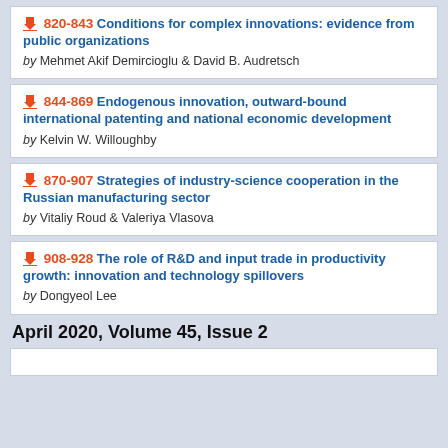820-843 Conditions for complex innovations: evidence from public organizations by Mehmet Akif Demircioglu & David B. Audretsch
844-869 Endogenous innovation, outward-bound international patenting and national economic development by Kelvin W. Willoughby
870-907 Strategies of industry-science cooperation in the Russian manufacturing sector by Vitaliy Roud & Valeriya Vlasova
908-928 The role of R&D and input trade in productivity growth: innovation and technology spillovers by Dongyeol Lee
April 2020, Volume 45, Issue 2